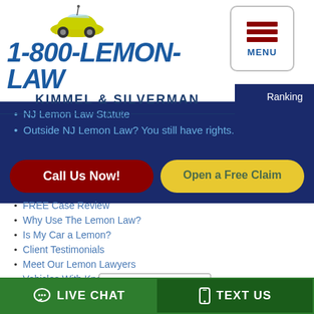[Figure (logo): 1-800-LEMON-LAW Kimmel & Silverman P.C. logo with yellow lemon car icon]
NJ Lemon Law Statute
Outside NJ Lemon Law? You still have rights.
Call Us Now!
Open a Free Claim
FREE Case Review
Why Use The Lemon Law?
Is My Car a Lemon?
Client Testimonials
Meet Our Lemon Lawyers
Vehicles With Known Problems
Car Complaint Index
Lemon Law Home Page
Select Your State: Select State
LIVE CHAT
TEXT US